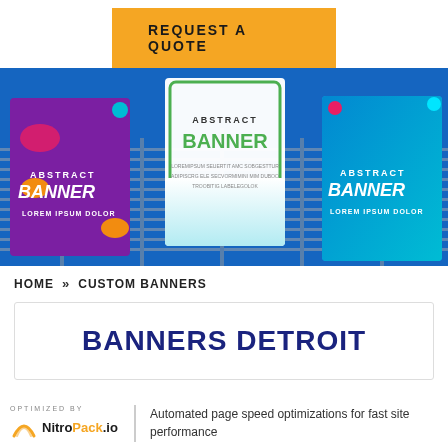REQUEST A QUOTE
[Figure (photo): Three abstract banner stands (purple, white, blue) displayed outdoors against a blue sky and building backdrop. Each banner reads 'ABSTRACT BANNER LOREM IPSUM DOLOR' or similar placeholder text.]
HOME » CUSTOM BANNERS
BANNERS DETROIT
OPTIMIZED BY NitroPack.io  |  Automated page speed optimizations for fast site performance